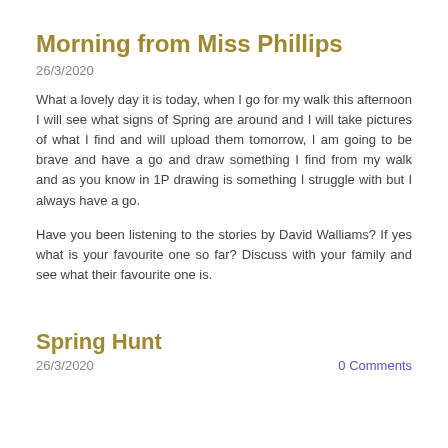Morning from Miss Phillips
26/3/2020
What a lovely day it is today, when I go for my walk this afternoon I will see what signs of Spring are around and I will take pictures of what I find and will upload them tomorrow, I am going to be brave and have a go and draw something I find from my walk and as you know in 1P drawing is something I struggle with but I always have a go.
Have you been listening to the stories by David Walliams? If yes what is your favourite one so far? Discuss with your family and see what their favourite one is.
Spring Hunt
26/3/2020
0 Comments